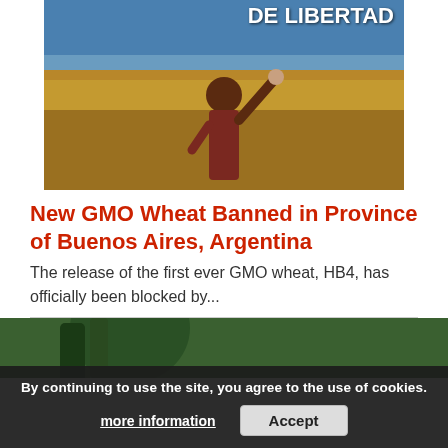[Figure (photo): Person in wheat field with arms raised, text overlay reading 'DE LIBERTAD' in white bold font on dark background at top right. Sky is blue, field is golden wheat.]
New GMO Wheat Banned in Province of Buenos Aires, Argentina
The release of the first ever GMO wheat, HB4, has officially been blocked by...
[Figure (photo): Partial photo of a person visible at bottom of page, partially obscured by cookie consent bar.]
By continuing to use the site, you agree to the use of cookies.
more information   Accept